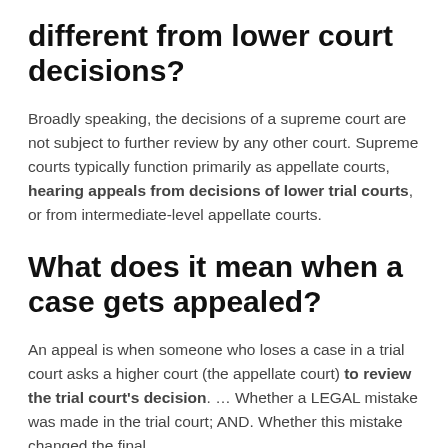different from lower court decisions?
Broadly speaking, the decisions of a supreme court are not subject to further review by any other court. Supreme courts typically function primarily as appellate courts, hearing appeals from decisions of lower trial courts, or from intermediate-level appellate courts.
What does it mean when a case gets appealed?
An appeal is when someone who loses a case in a trial court asks a higher court (the appellate court) to review the trial court's decision. … Whether a LEGAL mistake was made in the trial court; AND. Whether this mistake changed the final